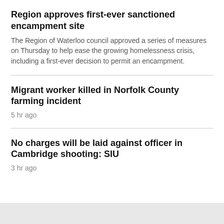Region approves first-ever sanctioned encampment site
The Region of Waterloo council approved a series of measures on Thursday to help ease the growing homelessness crisis, including a first-ever decision to permit an encampment.
Migrant worker killed in Norfolk County farming incident
5 hr ago
No charges will be laid against officer in Cambridge shooting: SIU
3 hr ago